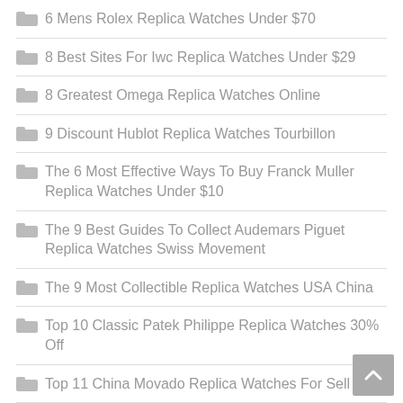6 Mens Rolex Replica Watches Under $70
8 Best Sites For Iwc Replica Watches Under $29
8 Greatest Omega Replica Watches Online
9 Discount Hublot Replica Watches Tourbillon
The 6 Most Effective Ways To Buy Franck Muller Replica Watches Under $10
The 9 Best Guides To Collect Audemars Piguet Replica Watches Swiss Movement
The 9 Most Collectible Replica Watches USA China
Top 10 Classic Patek Philippe Replica Watches 30% Off
Top 11 China Movado Replica Watches For Sell
Top 9 Popular Noob Factory Replica Watches Cufflinks